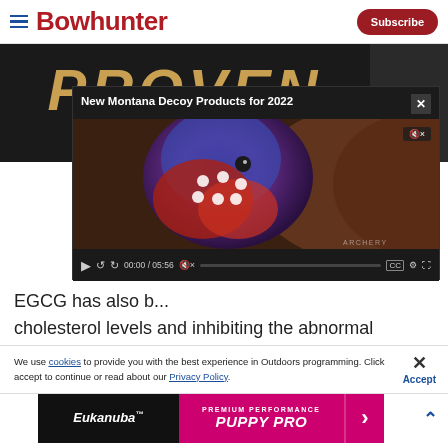Bowhunter — Subscribe
[Figure (screenshot): Bowhunter magazine background image with gold text PROVEN and white text EVERY... CHI... on dark background]
[Figure (screenshot): Video overlay: New Montana Decoy Products for 2022, showing close-up of turkey head, video controls showing 00:00 / 05:56]
EGCG has also b... cholesterol levels and inhibiting the abnormal
We use cookies to provide you with the best experience in Outdoors programming. Click accept to continue or read about our Privacy Policy.
[Figure (screenshot): Advertisement banner: Eukanuba PREMIUM PERFORMANCE PUPPY PRO with pink background and arrow]
Advertisement